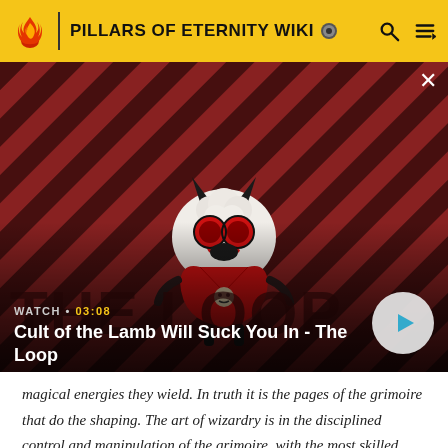PILLARS OF ETERNITY WIKI
[Figure (screenshot): Video thumbnail for 'Cult of the Lamb Will Suck You In - The Loop' showing a cartoon lamb character with red eyes on a diagonal striped red/dark background. Duration: 03:08. Play button visible.]
magical energies they wield. In truth it is the pages of the grimoire that do the shaping. The art of wizardry is in the disciplined control and manipulation of the grimoire, with the most skilled wizards able to coax spells of maximal